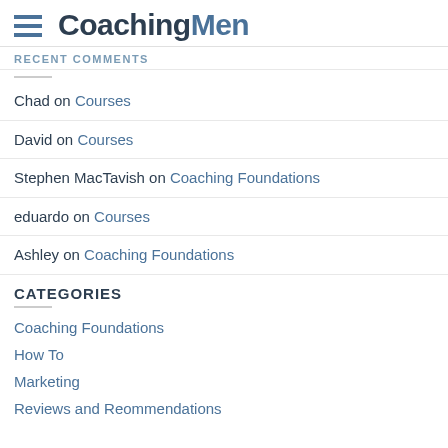CoachingMen
RECENT COMMENTS
Chad on Courses
David on Courses
Stephen MacTavish on Coaching Foundations
eduardo on Courses
Ashley on Coaching Foundations
CATEGORIES
Coaching Foundations
How To
Marketing
Reviews and Reommendations